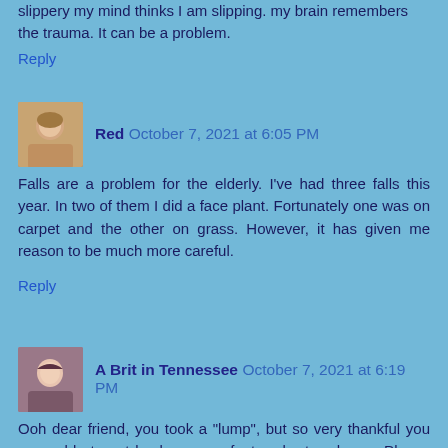slippery my mind thinks I am slipping. my brain remembers the trauma. It can be a problem.
Reply
Red October 7, 2021 at 6:05 PM
Falls are a problem for the elderly. I've had three falls this year. In two of them I did a face plant. Fortunately one was on carpet and the other on grass. However, it has given me reason to be much more careful.
Reply
A Brit in Tennessee October 7, 2021 at 6:19 PM
Ooh dear friend, you took a "lump", but so very thankful you were able to get back on your feet and return home. Please take good care of yourself, and if there is any sign of dizziness seek professional attention.
Sending healing wishes your way.
Hugs,
~Jo